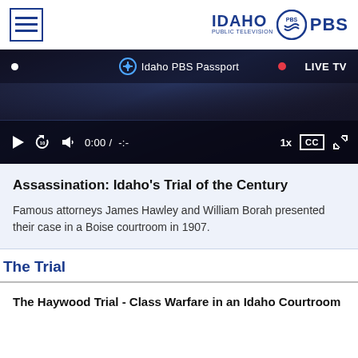Idaho PBS — navigation header with hamburger menu and Idaho PBS logo
[Figure (screenshot): Video player showing a dark courtroom scene with controls: play button, replay 10s, volume, 0:00 / -:-, 1x speed, CC, fullscreen. Top bar shows Idaho PBS Passport and LIVE TV labels.]
Assassination: Idaho's Trial of the Century
Famous attorneys James Hawley and William Borah presented their case in a Boise courtroom in 1907.
The Trial
The Haywood Trial - Class Warfare in an Idaho Courtroom